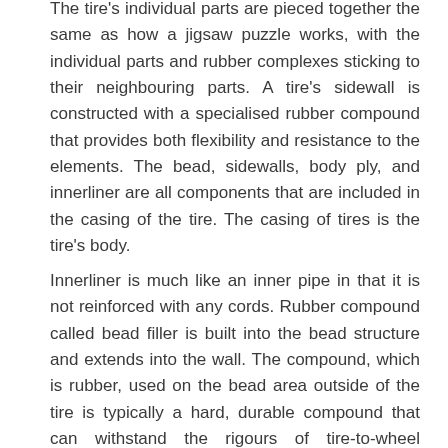The tire's individual parts are pieced together the same as how a jigsaw puzzle works, with the individual parts and rubber complexes sticking to their neighbouring parts. A tire's sidewall is constructed with a specialised rubber compound that provides both flexibility and resistance to the elements. The bead, sidewalls, body ply, and innerliner are all components that are included in the casing of the tire. The casing of tires is the tire's body.
Innerliner is much like an inner pipe in that it is not reinforced with any cords. Rubber compound called bead filler is built into the bead structure and extends into the wall. The compound, which is rubber, used on the bead area outside of the tire is typically a hard, durable compound that can withstand the rigours of tire-to-wheel mounting. Bead breakers are basically a bunch of steel ropes that have been wound into a